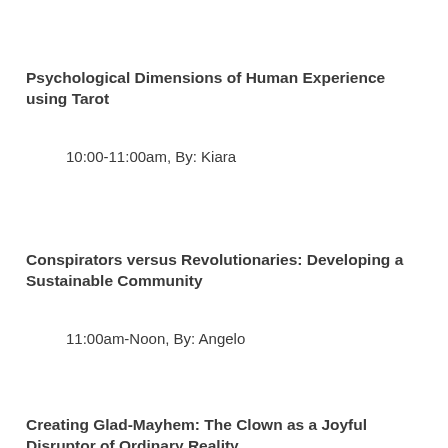Psychological Dimensions of Human Experience using Tarot
10:00-11:00am, By: Kiara
Conspirators versus Revolutionaries: Developing a Sustainable Community
11:00am-Noon, By: Angelo
Creating Glad-Mayhem: The Clown as a Joyful Disruptor of Ordinary Reality